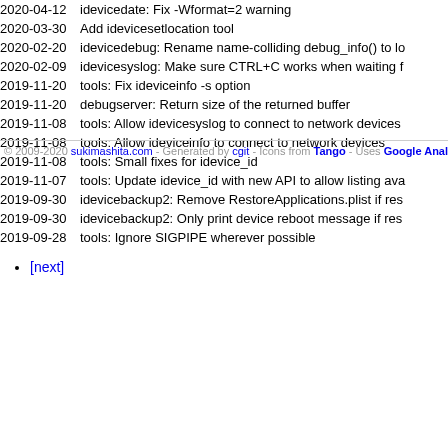| Date | Message |
| --- | --- |
| 2020-04-12 | idevicedate: Fix -Wformat=2 warning |
| 2020-03-30 | Add idevicesetlocation tool |
| 2020-02-20 | idevicedebug: Rename name-colliding debug_info() to lo… |
| 2020-02-09 | idevicesyslog: Make sure CTRL+C works when waiting f… |
| 2019-11-20 | tools: Fix ideviceinfo -s option |
| 2019-11-20 | debugserver: Return size of the returned buffer |
| 2019-11-08 | tools: Allow idevicesyslog to connect to network devices |
| 2019-11-08 | tools: Allow ideviceinfo to connect to network devices |
| 2019-11-08 | tools: Small fixes for idevice_id |
| 2019-11-07 | tools: Update idevice_id with new API to allow listing ava… |
| 2019-09-30 | idevicebackup2: Remove RestoreApplications.plist if res… |
| 2019-09-30 | idevicebackup2: Only print device reboot message if res… |
| 2019-09-28 | tools: Ignore SIGPIPE wherever possible |
[next]
© 2009-2020 sukimashita.com - Generated by cgit - Icons from Tango - Uses Google Analytics